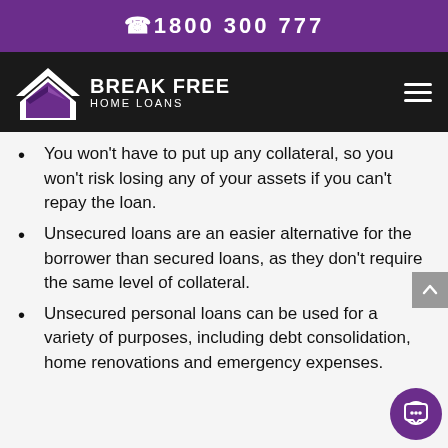☎1800 300 777
[Figure (logo): Break Free Home Loans logo with house/chevron icon on dark background, with hamburger menu icon on the right]
You won't have to put up any collateral, so you won't risk losing any of your assets if you can't repay the loan.
Unsecured loans are an easier alternative for the borrower than secured loans, as they don't require the same level of collateral.
Unsecured personal loans can be used for a variety of purposes, including debt consolidation, home renovations and emergency expenses.